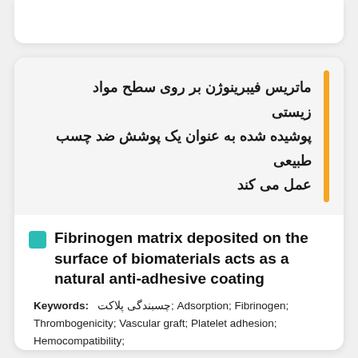ماتریس فیبرینوژن بر روی سطح مواد زیستی پوشیده شده به عنوان یک پوشش ضد چسب طبیعی عمل می کند
Fibrinogen matrix deposited on the surface of biomaterials acts as a natural anti-adhesive coating
Keywords: چسبندگی پلاکت; Adsorption; Fibrinogen; Thrombogenicity; Vascular graft; Platelet adhesion; Hemocompatibility;